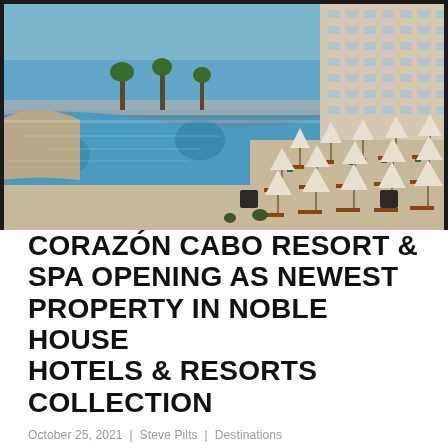[Figure (photo): Aerial/wide view of Corazón Cabo Resort & Spa showing a large infinity pool, pool deck with lounge chairs and white umbrellas, palm trees, ocean view in background, and a multi-story hotel building on the right.]
CORAZÓN CABO RESORT & SPA OPENING AS NEWEST PROPERTY IN NOBLE HOUSE HOTELS & RESORTS COLLECTION
October 25, 2021 | Steve Pilts | Destinations